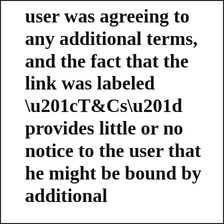user was agreeing to any additional terms, and the fact that the link was labeled “T&Cs” provides little or no notice to the user that he might be bound by additional information.